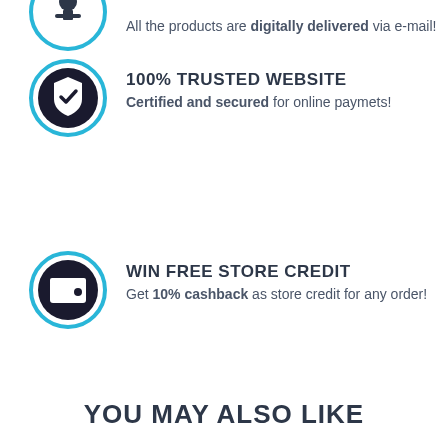All the products are digitally delivered via e-mail!
[Figure (illustration): Circular icon with cyan border showing a person/download symbol]
100% TRUSTED WEBSITE
Certified and secured for online paymets!
[Figure (illustration): Circular icon with cyan border showing a shield with checkmark]
WIN FREE STORE CREDIT
Get 10% cashback as store credit for any order!
[Figure (illustration): Circular icon with cyan border showing a wallet with dollar sign]
YOU MAY ALSO LIKE